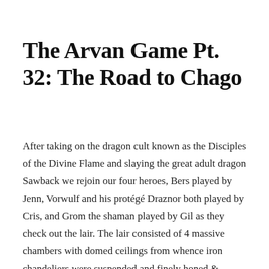The Arvan Game Pt. 32: The Road to Chago
After taking on the dragon cult known as the Disciples of the Divine Flame and slaying the great adult dragon Sawback we rejoin our four heroes, Bers played by Jenn, Vorwulf and his protégé Draznor both played by Cris, and Grom the shaman played by Gil as they check out the lair. The lair consisted of 4 massive chambers with domed ceilings from whence iron chandeliers were suspended and finely honed & polished walls. The central entrance chamber was the largest with large archways connecting to the other 3 chambers. There was a small hoard pile in the south archway consisting of 5,000 malachite, 2,000